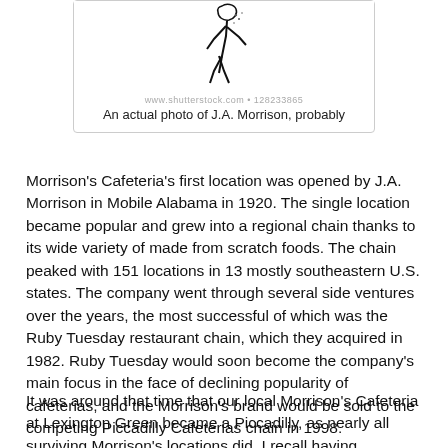[Figure (illustration): Sketch/silhouette image of a person (J.A. Morrison), black and white, with shutterstock watermark]
An actual photo of J.A. Morrison, probably
Morrison's Cafeteria's first location was opened by J.A. Morrison in Mobile Alabama in 1920. The single location became popular and grew into a regional chain thanks to its wide variety of made from scratch foods. The chain peaked with 151 locations in 13 mostly southeastern U.S. states. The company went through several side ventures over the years, the most successful of which was the Ruby Tuesday restaurant chain, which they acquired in 1982. Ruby Tuesday would soon become the company's main focus in the face of declining popularity of cafeterias, and the Morrison's brand would be sold to the competing Piccadilly Cafeterias chain in 1998.
It was around that time that our local Morrison's Cafeteria at Lexington Green became a Piccadilly, as nearly all surviving Morrison's locations did. I recall having precisely one family